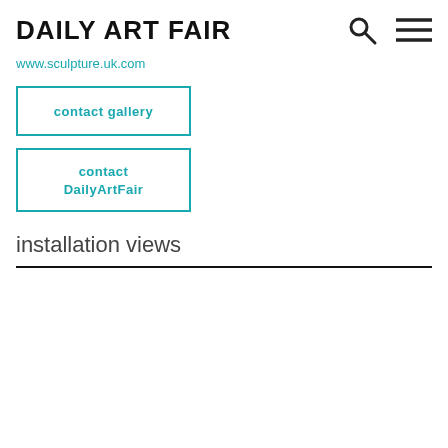Daily Art Fair
www.sculpture.uk.com
contact gallery
contact DailyArtFair
installation views